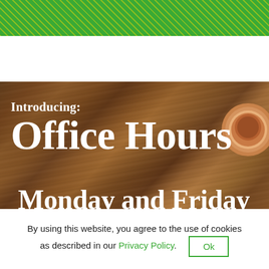[Figure (photo): Green header banner with yellow noise/grain texture, partially cropped at top]
[Figure (photo): Wooden table background with a coffee cup visible on the right side, overlaid with white text reading 'Introducing: Office Hours Monday and Friday 11:00-1:00']
By using this website, you agree to the use of cookies as described in our Privacy Policy. Ok